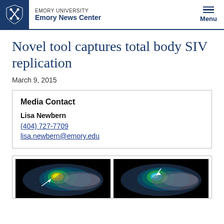EMORY UNIVERSITY Emory News Center
Novel tool captures total body SIV replication
March 9, 2015
Media Contact
Lisa Newbern
(404) 727-7709
lisa.newbern@emory.edu
[Figure (photo): Two side-by-side medical/PET scan images showing SIV replication in primate, with white arrows pointing to highlighted regions. Images on dark/black background with colorized heat-map style overlay.]